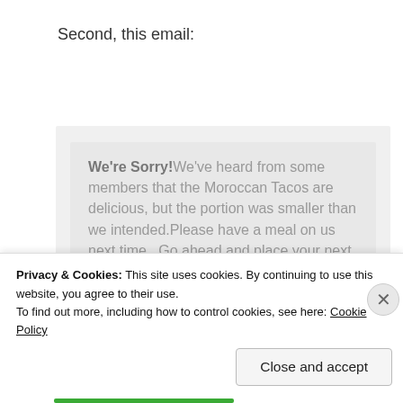Second, this email:
We're Sorry! We've heard from some members that the Moroccan Tacos are delicious, but the portion was smaller than we intended. Please have a meal on us next time.  Go ahead and place your next order the usual way, then send us a note with your pick for an extra meal.  We'll get it all together for you.
Privacy & Cookies: This site uses cookies. By continuing to use this website, you agree to their use.
To find out more, including how to control cookies, see here: Cookie Policy
Close and accept